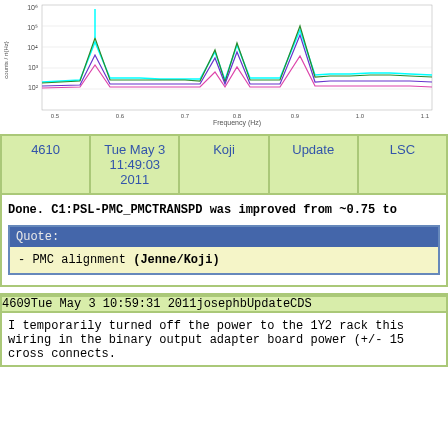[Figure (continuous-plot): Frequency spectrum plots showing multiple peaks, with overlaid colored lines (cyan, green, pink, blue/purple) on log-scale y-axis. X-axis labeled Frequency (Hz). Three prominent peaks visible across frequency range 0.5 to 1.1.]
| 4610 | Tue May 3 11:49:03 2011 | Koji | Update | LSC |
| --- | --- | --- | --- | --- |
Done. C1:PSL-PMC_PMCTRANSPD was improved from ~0.75 to
Quote:
- PMC alignment (Jenne/Koji)
| 4609 | Tue May 3 10:59:31 2011 | josephb | Update | CDS |
| --- | --- | --- | --- | --- |
I temporarily turned off the power to the 1Y2 rack this
wiring in the binary output adapter board power (+/- 15
cross connects.